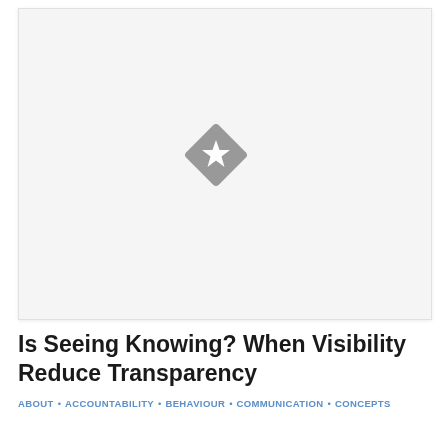[Figure (illustration): A placeholder image area with a gray diamond-shaped icon containing a white star in the center, on a light gray background.]
Is Seeing Knowing? When Visibility Reduce Transparency
ABOUT • ACCOUNTABILITY • BEHAVIOUR • COMMUNICATION • CONCEPTS